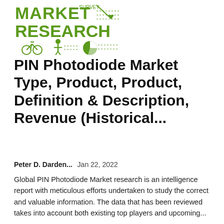[Figure (logo): Market Research Survey logo with green bold text 'MARKET RESEARCH' and survey/analytics icons including a bicycle, figure, and pie chart in green]
PIN Photodiode Market Type, Product, Product, Definition & Description, Revenue (Historical...
Peter D. Darden...   Jan 22, 2022
Global PIN Photodiode Market research is an intelligence report with meticulous efforts undertaken to study the correct and valuable information. The data that has been reviewed takes into account both existing top players and upcoming...